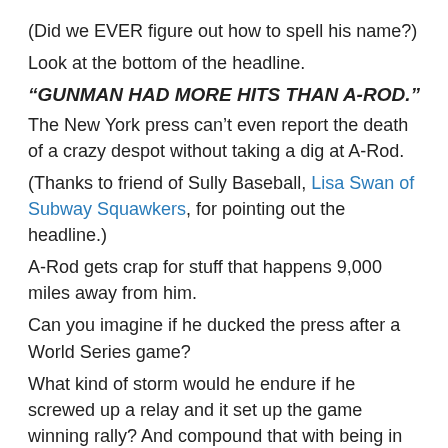(Did we EVER figure out how to spell his name?)
Look at the bottom of the headline.
“GUNMAN HAD MORE HITS THAN A-ROD.”
The New York press can’t even report the death of a crazy despot without taking a dig at A-Rod.
(Thanks to friend of Sully Baseball, Lisa Swan of Subway Squawkers, for pointing out the headline.)
A-Rod gets crap for stuff that happens 9,000 miles away from him.
Can you imagine if he ducked the press after a World Series game?
What kind of storm would he endure if he screwed up a relay and it set up the game winning rally? And compound that with being in the steam room afterwards!
And saying “What? I didn’t know that the reporters liked to talk to the big stars after a World Series game!”